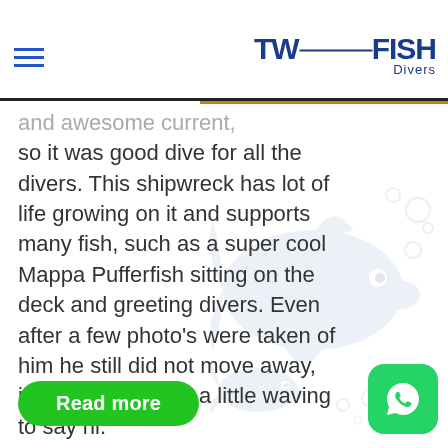Two Fish Divers
and awesome current, so it was good dive for all the divers. This shipwreck has lot of life growing on it and supports many fish, such as a super cool Mappa Pufferfish sitting on the deck and greeting divers. Even after a few photo's were taken of him he still did not move away, instead giving just a little waving to say hi.
Read more